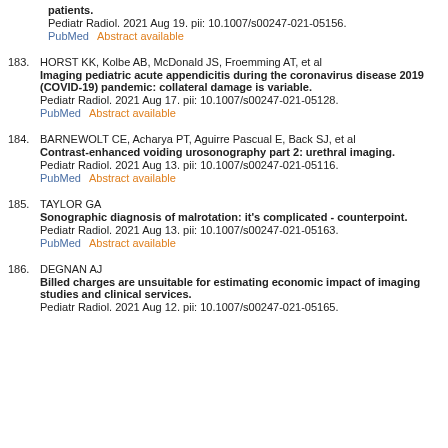patients.
Pediatr Radiol. 2021 Aug 19. pii: 10.1007/s00247-021-05156.
PubMed    Abstract available
183. HORST KK, Kolbe AB, McDonald JS, Froemming AT, et al
Imaging pediatric acute appendicitis during the coronavirus disease 2019 (COVID-19) pandemic: collateral damage is variable.
Pediatr Radiol. 2021 Aug 17. pii: 10.1007/s00247-021-05128.
PubMed    Abstract available
184. BARNEWOLT CE, Acharya PT, Aguirre Pascual E, Back SJ, et al
Contrast-enhanced voiding urosonography part 2: urethral imaging.
Pediatr Radiol. 2021 Aug 13. pii: 10.1007/s00247-021-05116.
PubMed    Abstract available
185. TAYLOR GA
Sonographic diagnosis of malrotation: it's complicated - counterpoint.
Pediatr Radiol. 2021 Aug 13. pii: 10.1007/s00247-021-05163.
PubMed    Abstract available
186. DEGNAN AJ
Billed charges are unsuitable for estimating economic impact of imaging studies and clinical services.
Pediatr Radiol. 2021 Aug 12. pii: 10.1007/s00247-021-05165.